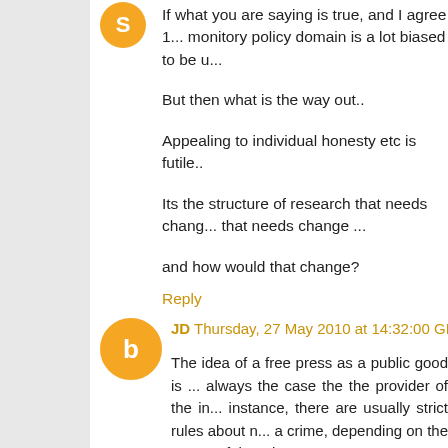If what you are saying is true, and I agree 1... monitory policy domain is a lot biased to be u...

But then what is the way out..

Appealing to individual honesty etc is futile..

Its the structure of research that needs chang... that needs change ...

and how would that change?
Reply
JD  Thursday, 27 May 2010 at 14:32:00 GMT-...
The idea of a free press as a public good is ... always the case the the provider of the in... instance, there are usually strict rules about n... a crime, depending on the nature of the crim...